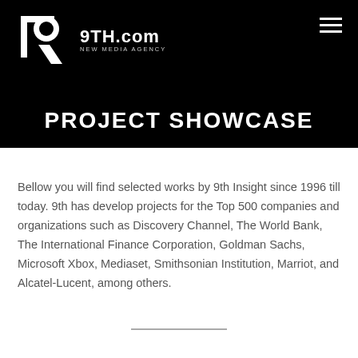[Figure (logo): 9TH.com New Media Agency logo — white angular '9' mark on black background with text '9TH.com' and 'NEW MEDIA AGENCY']
PROJECT SHOWCASE
Bellow you will find selected works by 9th Insight since 1996 till today. 9th has develop projects for the Top 500 companies and organizations such as Discovery Channel, The World Bank, The International Finance Corporation, Goldman Sachs, Microsoft Xbox, Mediaset, Smithsonian Institution, Marriot, and Alcatel-Lucent, among others.